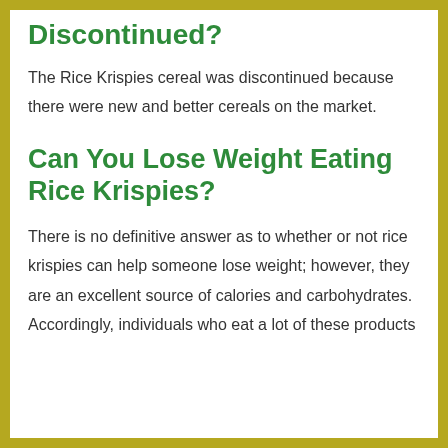Discontinued?
The Rice Krispies cereal was discontinued because there were new and better cereals on the market.
Can You Lose Weight Eating Rice Krispies?
There is no definitive answer as to whether or not rice krispies can help someone lose weight; however, they are an excellent source of calories and carbohydrates. Accordingly, individuals who eat a lot of these products